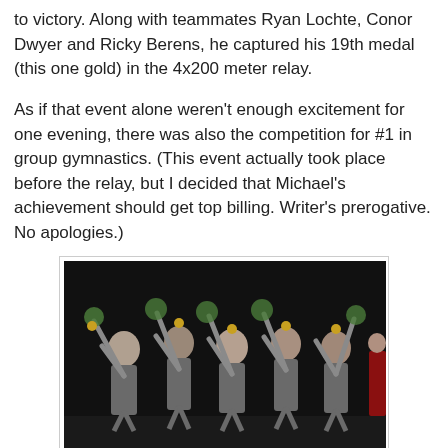to victory. Along with teammates Ryan Lochte, Conor Dwyer and Ricky Berens, he captured his 19th medal (this one gold) in the 4x200 meter relay.
As if that event alone weren't enough excitement for one evening, there was also the competition for #1 in group gymnastics. (This event actually took place before the relay, but I decided that Michael's achievement should get top billing. Writer's prerogative. No apologies.)
[Figure (photo): Five female gymnasts in gray uniforms with gold medals, raising their hands in celebration on a podium. They are holding flower bouquets. This appears to be the US women's gymnastics team (Fab Five) at the 2012 London Olympics.]
Getty Images Photo
The collective effort of five young women, dubbed the Fab